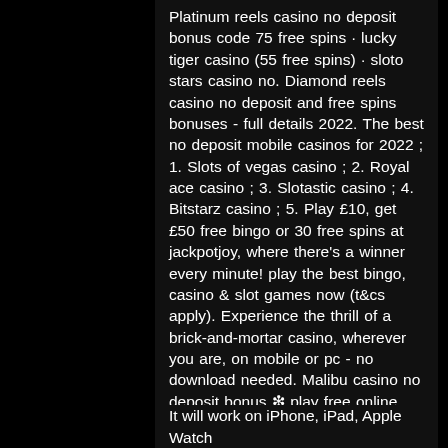Platinum reels casino no deposit bonus code 75 free spins · lucky tiger casino (55 free spins) · sloto stars casino no. Diamond reels casino no deposit and free spins bonuses - full details 2022. The best no deposit mobile casinos for 2022 ; 1. Slots of vegas casino ; 2. Royal ace casino ; 3. Slotastic casino ; 4. Bitstarz casino ; 5. Play £10, get £50 free bingo or 30 free spins at jackpotjoy, where there's a winner every minute! play the best bingo, casino &amp; slot games now (t&amp;cs apply). Experience the thrill of a brick-and-mortar casino, wherever you are, on mobile or pc - no download needed. Malibu casino no deposit bonus ❇ play free online poker and internet casino games at sams poker. Best online casino games on the internet. Best no deposit mobile casino bonuses 2022 win real money using a free sign-up bonus! claim yours today! click here to find out more
It will work on iPhone, iPad, Apple Watch